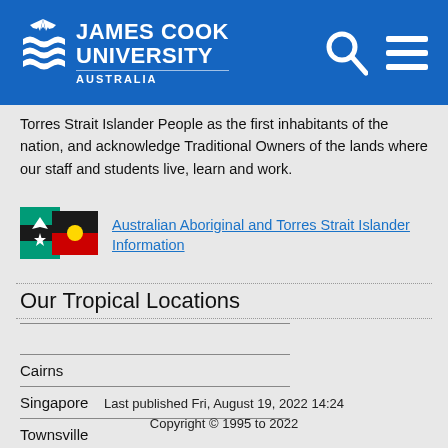[Figure (logo): James Cook University Australia logo with white text on blue background, search icon and hamburger menu icon on right]
Torres Strait Islander People as the first inhabitants of the nation, and acknowledge Traditional Owners of the lands where our staff and students live, learn and work.
[Figure (illustration): Two flags: Australian Aboriginal flag and Torres Strait Islander flag side by side]
Australian Aboriginal and Torres Strait Islander Information
Our Tropical Locations
Cairns
Singapore
Townsville
Last published Fri, August 19, 2022 14:24
Copyright © 1995 to 2022